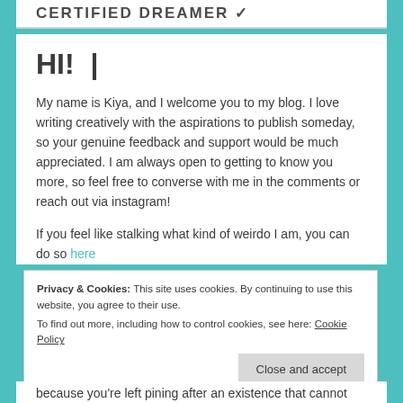CERTIFIED DREAMER ✓
HI! |
My name is Kiya, and I welcome you to my blog. I love writing creatively with the aspirations to publish someday, so your genuine feedback and support would be much appreciated. I am always open to getting to know you more, so feel free to converse with me in the comments or reach out via instagram!
If you feel like stalking what kind of weirdo I am, you can do so here
Privacy & Cookies: This site uses cookies. By continuing to use this website, you agree to their use.
To find out more, including how to control cookies, see here: Cookie Policy
[Close and accept button]
because you're left pining after an existence that cannot